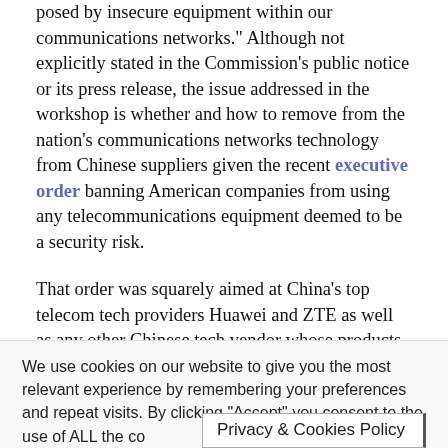posed by insecure equipment within our communications networks." Although not explicitly stated in the Commission's public notice or its press release, the issue addressed in the workshop is whether and how to remove from the nation's communications networks technology from Chinese suppliers given the recent executive order banning American companies from using any telecommunications equipment deemed to be a security risk.
That order was squarely aimed at China's top telecom tech providers Huawei and ZTE as well as any other Chinese tech vendor whose products appear in the nation's communications
We use cookies on our website to give you the most relevant experience by remembering your preferences and repeat visits. By clicking "Accept" you consent to the use of ALL the co...
Privacy & Cookies Policy